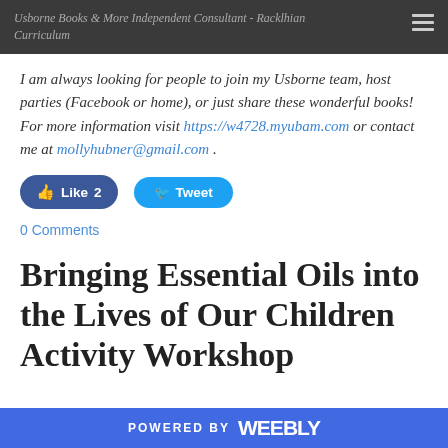Usborne Books & More Independent Consultant Curriculum Creations
I am always looking for people to join my Usborne team, host parties (Facebook or home), or just share these wonderful books! For more information visit https://w4728.myubam.com or contact me at mollyhubner@gmail.com .
[Figure (infographic): Facebook Like button (count: 2) and Twitter Tweet button]
0 Comments
Bringing Essential Oils into the Lives of Our Children Activity Workshop
POWERED BY weebly